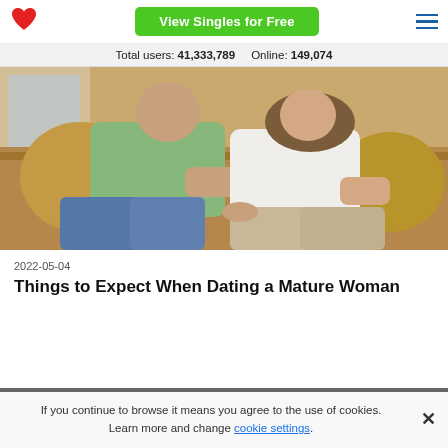[Figure (logo): Red heart logo icon]
View Singles for Free
[Figure (illustration): Hamburger menu icon with three horizontal blue lines]
Total users: 41,333,789    Online: 149,074
[Figure (photo): A couple sitting on a brown couch; man in green shirt and jeans, woman in white top and khaki pants]
2022-05-04
Things to Expect When Dating a Mature Woman
If you continue to browse it means you agree to the use of cookies. Learn more and change cookie settings.